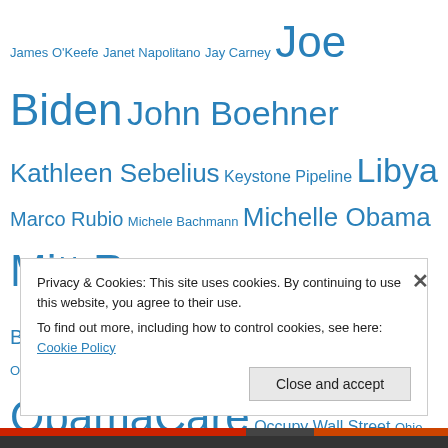James O'Keefe Janet Napolitano Jay Carney Joe Biden John Boehner Kathleen Sebelius Keystone Pipeline Libya Marco Rubio Michele Bachmann Michelle Obama Mitt Romney Muslim Brotherhood Nancy Pelosi Newt Gingrich Obama ObamaCare Occupy Wall Street Ohio Patient Protection and Affordable Care Act Paul Ryan Rand Paul Richard Nixon Rick Perry Ronald Reagan Sarah Palin Smart Girl Politics Solyndra Supreme Court Syria Tea Party Ted Cruz The Heritage Foundation Thomas Sowell Unemployment Unions United States
Privacy & Cookies: This site uses cookies. By continuing to use this website, you agree to their use.
To find out more, including how to control cookies, see here: Cookie Policy
Close and accept